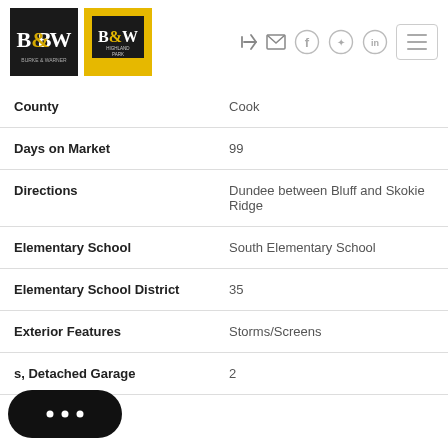[Figure (logo): B&W Burke & Warren black square logo and B&W Highland Park yellow square logo]
| Field | Value |
| --- | --- |
| County | Cook |
| Days on Market | 99 |
| Directions | Dundee between Bluff and Skokie Ridge |
| Elementary School | South Elementary School |
| Elementary School District | 35 |
| Exterior Features | Storms/Screens |
| s, Detached Garage | 2 |